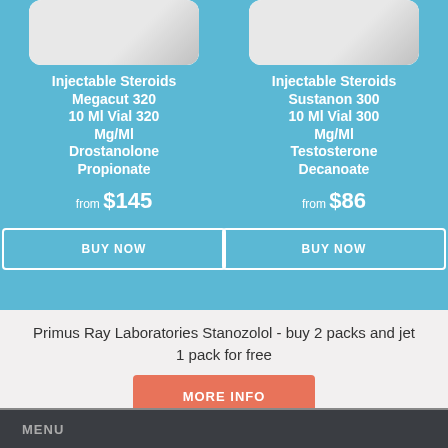[Figure (photo): Product image of Injectable Steroids Megacut 320 vial]
Injectable Steroids Megacut 320 10 Ml Vial 320 Mg/Ml Drostanolone Propionate
from $145
BUY NOW
[Figure (photo): Product image of Injectable Steroids Sustanon 300 vial]
Injectable Steroids Sustanon 300 10 Ml Vial 300 Mg/Ml Testosterone Decanoate
from $86
BUY NOW
Primus Ray Laboratories Stanozolol - buy 2 packs and jet 1 pack for free
MORE INFO
MENU